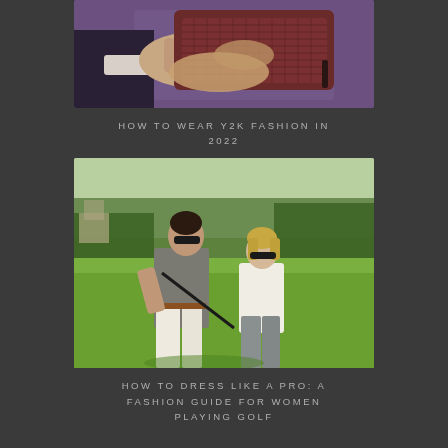[Figure (photo): Close-up of hands holding a dark red/brown patterned clutch bag, person wearing a dark suit with white shirt sleeve visible]
HOW TO WEAR Y2K FASHION IN 2022
[Figure (photo): Two women on a golf course, one in grey shirt and white pants holding a golf club, the other in white top and grey pants, both wearing sunglasses, green grass and trees in background]
HOW TO DRESS LIKE A PRO: A FASHION GUIDE FOR WOMEN PLAYING GOLF